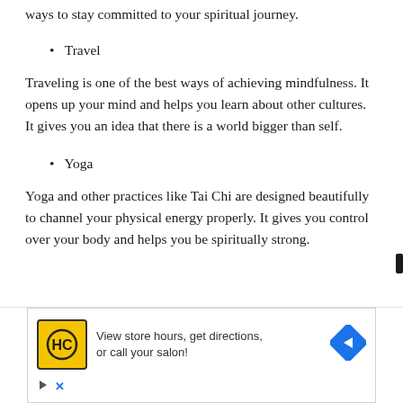ways to stay committed to your spiritual journey.
Travel
Traveling is one of the best ways of achieving mindfulness. It opens up your mind and helps you learn about other cultures. It gives you an idea that there is a world bigger than self.
Yoga
Yoga and other practices like Tai Chi are designed beautifully to channel your physical energy properly. It gives you control over your body and helps you be spiritually strong.
[Figure (infographic): An advertisement banner for a hair care salon service showing the HC logo in yellow, text reading 'View store hours, get directions, or call your salon!' and a blue navigation arrow icon, with a play triangle and X close button below.]